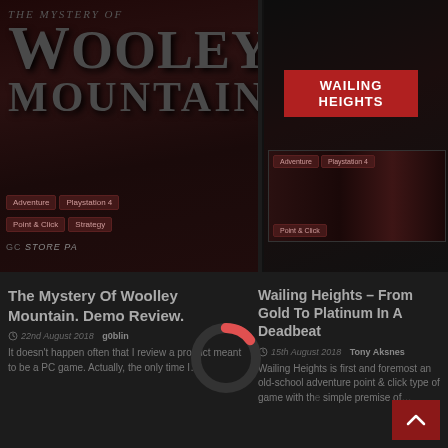[Figure (screenshot): The Mystery Of Woolley Mountain game banner/cover — dark red background with stylized title text]
[Figure (screenshot): Wailing Heights game banner — dark background with red Wailing Heights sign and screenshot]
Adventure  Playstation 4  Point & Click  Strategy  STORE PA
Adventure  Playstation 4  Point & Click
[Figure (donut-chart): Small donut/ring chart with a red segment, mostly dark grey, indicating partial score or progress]
The Mystery Of Woolley Mountain. Demo Review.
22nd August 2018  g0blin
It doesn't happen often that I review a product meant to be a PC game. Actually, the only time I…
Wailing Heights – From Gold To Platinum In A Deadbeat
15th August 2018  Tony Aksnes
Wailing Heights is first and foremost an old-school adventure point & click type of game with the simple premise of…